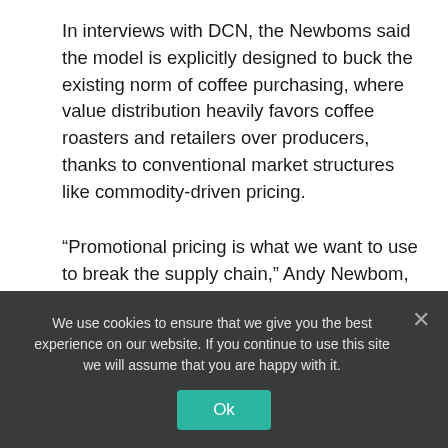In interviews with DCN, the Newboms said the model is explicitly designed to buck the existing norm of coffee purchasing, where value distribution heavily favors coffee roasters and retailers over producers, thanks to conventional market structures like commodity-driven pricing.
“Promotional pricing is what we want to use to break the supply chain,” Andy Newbom, the co-author of the book Coffee Spanish for Coffee Buyers, recently told DCN. “The whole
We use cookies to ensure that we give you the best experience on our website. If you continue to use this site we will assume that you are happy with it.